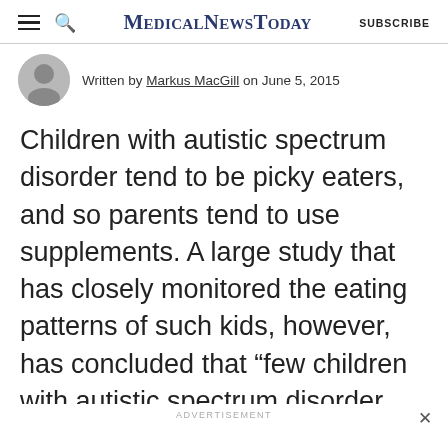MedicalNewsToday  SUBSCRIBE
Written by Markus MacGill on June 5, 2015
Children with autistic spectrum disorder tend to be picky eaters, and so parents tend to use supplements. A large study that has closely monitored the eating patterns of such kids, however, has concluded that “few children with autistic spectrum disorder need most of the micronutrients they are commonly given as supplements,” and even when they are